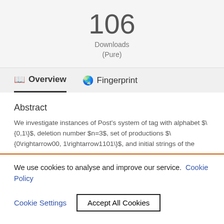106
Downloads
(Pure)
Overview
Fingerprint
Abstract
We investigate instances of Post's system of tag with alphabet $\{0,1\}$, deletion number $n=3$, set of productions $\{0\rightarrow00, 1\rightarrow1101\}$, and initial strings of the
We use cookies to analyse and improve our service. Cookie Policy
Cookie Settings
Accept All Cookies